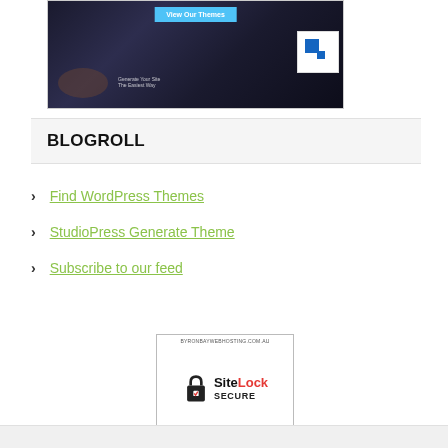[Figure (screenshot): WordPress themes promotional banner with 'View Our Themes' button and a logo icon on dark background]
BLOGROLL
Find WordPress Themes
StudioPress Generate Theme
Subscribe to our feed
[Figure (logo): SiteLock SECURE badge — BYRONBAYWEBHOSTING.COM.AU — Passed 04-Sep-2022]